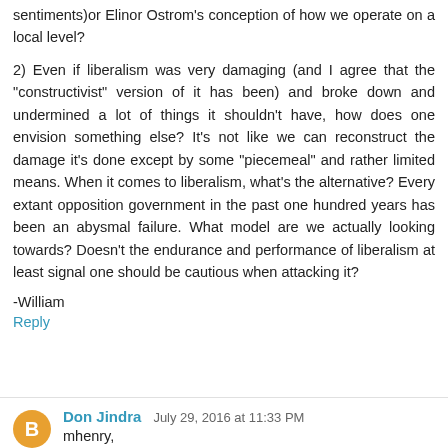sentiments)or Elinor Ostrom's conception of how we operate on a local level?
2) Even if liberalism was very damaging (and I agree that the "constructivist" version of it has been) and broke down and undermined a lot of things it shouldn't have, how does one envision something else? It's not like we can reconstruct the damage it's done except by some "piecemeal" and rather limited means. When it comes to liberalism, what's the alternative? Every extant opposition government in the past one hundred years has been an abysmal failure. What model are we actually looking towards? Doesn't the endurance and performance of liberalism at least signal one should be cautious when attacking it?
-William
Reply
Don Jindra  July 29, 2016 at 11:33 PM
mhenry,